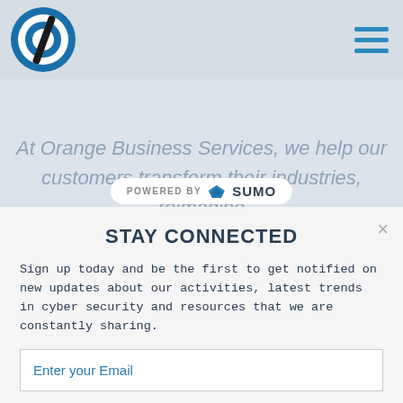Orange Business Services website header with logo and hamburger menu
At Orange Business Services, we help our customers transform their industries, reimagine
[Figure (logo): Powered by Sumo badge with crown icon]
STAY CONNECTED
Sign up today and be the first to get notified on new updates about our activities, latest trends in cyber security and resources that we are constantly sharing.
Enter your Email
I agree to the Privacy Policy and to receive emails from DefCamp.
Pre-register now